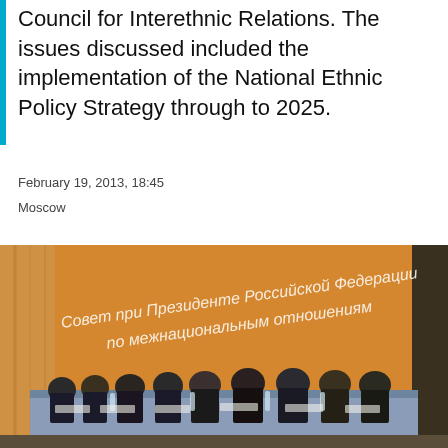Council for Interethnic Relations. The issues discussed included the implementation of the National Ethnic Policy Strategy through to 2025.
February 19, 2013, 18:45
Moscow
[Figure (photo): A formal meeting of officials seated at a long table in front of an orange banner displaying Russian text: 'Совет при Президенте Российской Федерации по межнациональным отношениям' (Council under the President of the Russian Federation on Interethnic Relations). Multiple men in dark suits are seated along the table with water bottles and nameplates.]